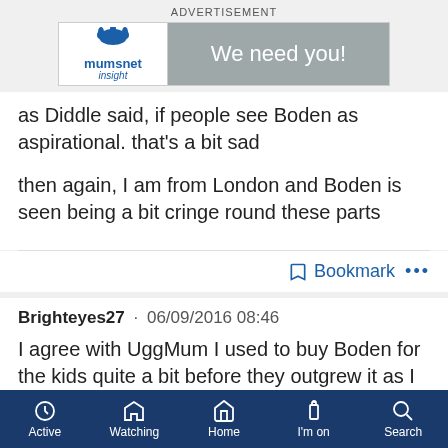[Figure (screenshot): Mumsnet Insight advertisement banner with logo on left and 'We need you!' text on grey right panel]
as Diddle said, if people see Boden as aspirational. that's a bit sad
then again, I am from London and Boden is seen being a bit cringe round these parts
Bookmark •••
Brighteyes27 · 06/09/2016 08:46
I agree with UggMum I used to buy Boden for the kids quite a bit before they outgrew it as I loved the bright colours, the quality, the kids liked the comfort and after use I resold it
Active  Watching  Home  I'm on  Search